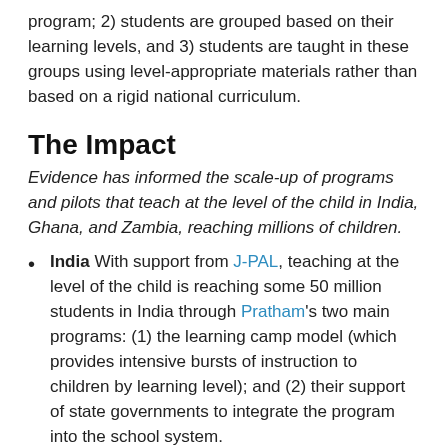program; 2) students are grouped based on their learning levels, and 3) students are taught in these groups using level-appropriate materials rather than based on a rigid national curriculum.
The Impact
Evidence has informed the scale-up of programs and pilots that teach at the level of the child in India, Ghana, and Zambia, reaching millions of children.
India With support from J-PAL, teaching at the level of the child is reaching some 50 million students in India through Pratham's two main programs: (1) the learning camp model (which provides intensive bursts of instruction to children by learning level); and (2) their support of state governments to integrate the program into the school system.